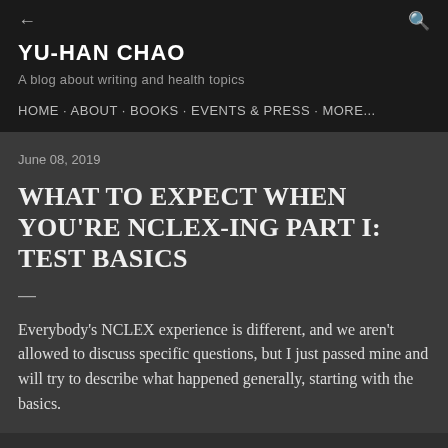YU-HAN CHAO
A blog about writing and health topics
HOME · ABOUT · BOOKS · EVENTS & PRESS · MORE...
June 08, 2019
WHAT TO EXPECT WHEN YOU'RE NCLEX-ING PART I: TEST BASICS
Everybody's NCLEX experience is different, and we aren't allowed to discuss specific questions, but I just passed mine and will try to describe what happened generally, starting with the basics.